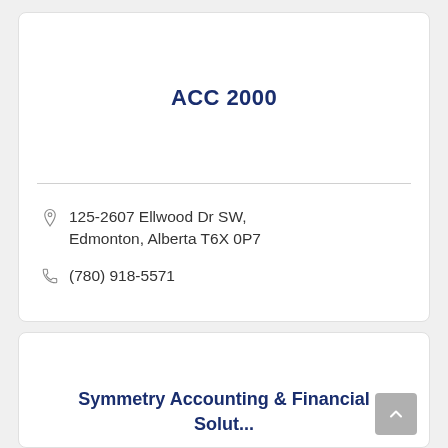ACC 2000
125-2607 Ellwood Dr SW, Edmonton, Alberta T6X 0P7
(780) 918-5571
Symmetry Accounting & Financial Solut...